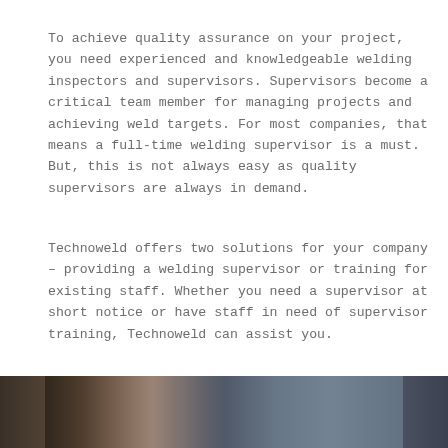To achieve quality assurance on your project, you need experienced and knowledgeable welding inspectors and supervisors. Supervisors become a critical team member for managing projects and achieving weld targets. For most companies, that means a full-time welding supervisor is a must. But, this is not always easy as quality supervisors are always in demand.
Technoweld offers two solutions for your company – providing a welding supervisor or training for existing staff. Whether you need a supervisor at short notice or have staff in need of supervisor training, Technoweld can assist you.
[Figure (photo): Bottom strip showing a photo of welding workers/supervisors in industrial setting, partially visible at bottom of page]